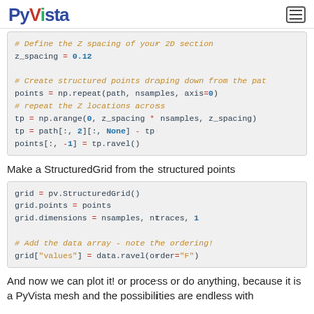PyVista
[Figure (screenshot): Code block showing z_spacing definition, np.repeat for structured points, np.arange and ravel operations]
Make a StructuredGrid from the structured points
[Figure (screenshot): Code block showing pv.StructuredGrid(), grid.points, grid.dimensions, and grid['values'] assignment]
And now we can plot it! or process or do anything, because it is a PyVista mesh and the possibilities are endless with